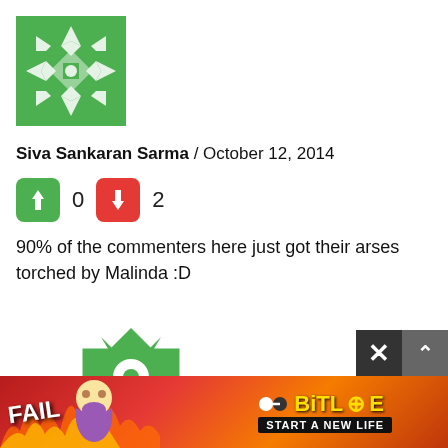[Figure (illustration): Green and white decorative geometric avatar/identicon for user Siva Sankaran Sarma]
Siva Sankaran Sarma / October 12, 2014
[Figure (infographic): Thumbs up (green, 0 votes) and thumbs down (red, 2 votes) vote buttons]
90% of the commenters here just got their arses torched by Malinda :D
[Figure (illustration): Green and white star/cross-shaped geometric avatar/identicon for user Sun]
Sun / October 13, 2014
[Figure (infographic): Thumbs up (green) and thumbs down (red) vote buttons partially visible]
[Figure (illustration): BitLife advertisement banner with FAIL text, cartoon character, flames, and START A NEW LIFE text]